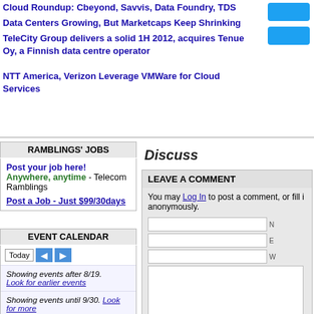Cloud Roundup: Cbeyond, Savvis, Data Foundry, TDS
Data Centers Growing, But Marketcaps Keep Shrinking
TeleCity Group delivers a solid 1H 2012, acquires Tenue Oy, a Finnish data centre operator
NTT America, Verizon Leverage VMWare for Cloud Services
RAMBLINGS' JOBS
Post your job here!
Anywhere, anytime - Telecom Ramblings
Post a Job - Just $99/30days
EVENT CALENDAR
Showing events after 8/19. Look for earlier events
Showing events until 9/30. Look for more
Discuss
LEAVE A COMMENT
You may Log In to post a comment, or fill in the form below to post anonymously.
Submit